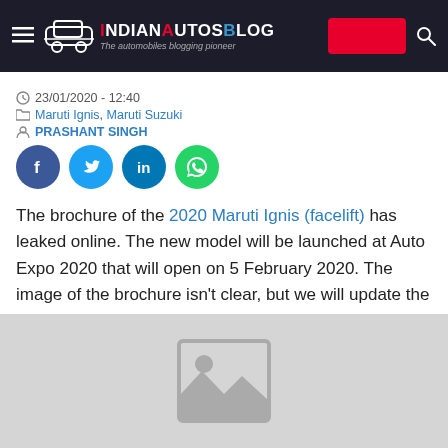IndianAutosBlog - The automobiles blogging pioneer
23/01/2020 - 12:40
Maruti Ignis, Maruti Suzuki
PRASHANT SINGH
[Figure (infographic): Social share buttons: Facebook, Twitter, LinkedIn, WhatsApp]
The brochure of the 2020 Maruti Ignis (facelift) has leaked online. The new model will be launched at Auto Expo 2020 that will open on 5 February 2020. The image of the brochure isn't clear, but we will update the story as soon as a clearer image becomes available.
[Figure (photo): Placeholder image with grey background and image icon]